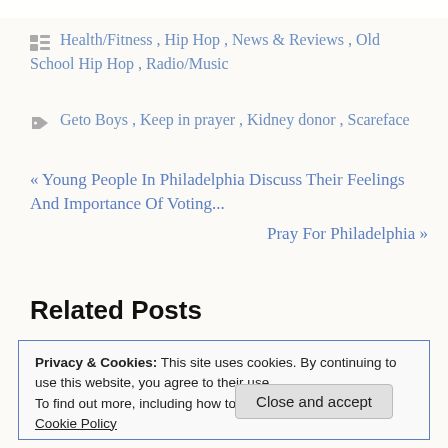Health/Fitness, Hip Hop, News & Reviews, Old School Hip Hop, Radio/Music
Geto Boys, Keep in prayer, Kidney donor, Scareface
« Young People In Philadelphia Discuss Their Feelings And Importance Of Voting...
Pray For Philadelphia »
Related Posts
Privacy & Cookies: This site uses cookies. By continuing to use this website, you agree to their use. To find out more, including how to control cookies, see here: Cookie Policy
Close and accept